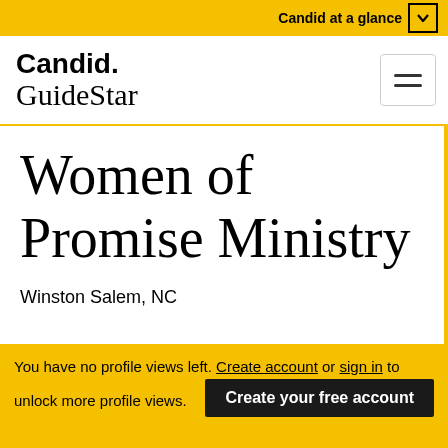Candid at a glance
Candid. GuideStar
Women of Promise Ministry
Winston Salem, NC
You have no profile views left. Create account or sign in to unlock more profile views.
Create your free account